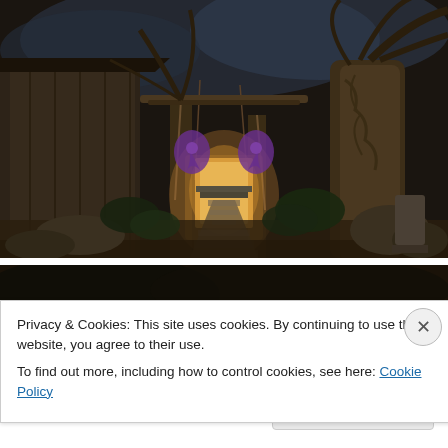[Figure (photo): Nighttime photo of a Japanese shrine or temple entrance. A stone path leads to a lit doorway with purple decorative fabric/banners. Large trees frame the scene. Dark atmospheric lighting.]
[Figure (photo): Partial second nighttime photo, dark foliage visible at top, mostly obscured by cookie consent banner.]
Privacy & Cookies: This site uses cookies. By continuing to use this website, you agree to their use.
To find out more, including how to control cookies, see here: Cookie Policy
Close and accept